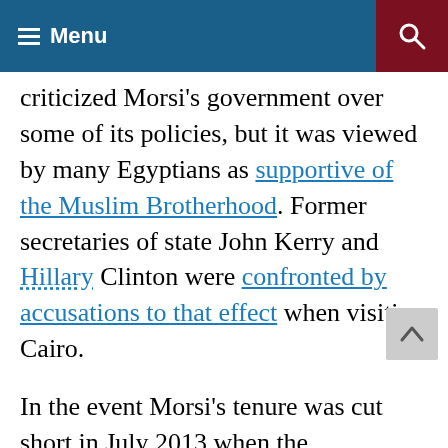Menu
criticized Morsi's government over some of its policies, but it was viewed by many Egyptians as supportive of the Muslim Brotherhood. Former secretaries of state John Kerry and Hillary Clinton were confronted by accusations to that effect when visiting Cairo.
In the event Morsi's tenure was cut short in July 2013 when the